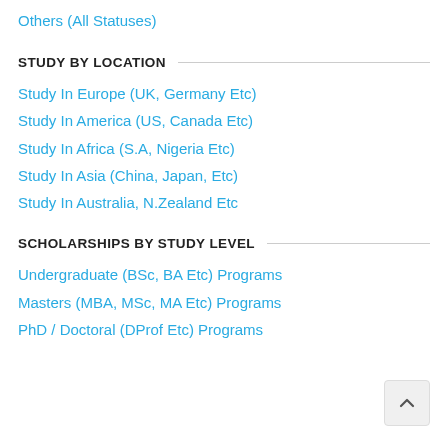Others (All Statuses)
STUDY BY LOCATION
Study In Europe (UK, Germany Etc)
Study In America (US, Canada Etc)
Study In Africa (S.A, Nigeria Etc)
Study In Asia (China, Japan, Etc)
Study In Australia, N.Zealand Etc
SCHOLARSHIPS BY STUDY LEVEL
Undergraduate (BSc, BA Etc) Programs
Masters (MBA, MSc, MA Etc) Programs
PhD / Doctoral (DProf Etc) Programs